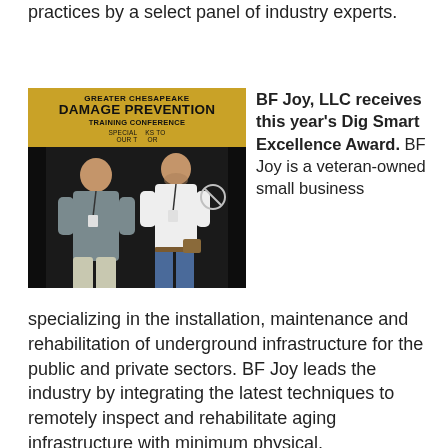practices by a select panel of industry experts.
[Figure (photo): Two men standing in front of a Greater Chesapeake Damage Prevention Training Conference banner backdrop. The banner is yellow and brown. One man is older and heavier set, wearing a grey shirt. The other is younger, wearing a white shirt and jeans, holding an award plaque.]
BF Joy, LLC receives this year's Dig Smart Excellence Award. BF Joy is a veteran-owned small business specializing in the installation, maintenance and rehabilitation of underground infrastructure for the public and private sectors. BF Joy leads the industry by integrating the latest techniques to remotely inspect and rehabilitate aging infrastructure with minimum physical, environmental and social impact.